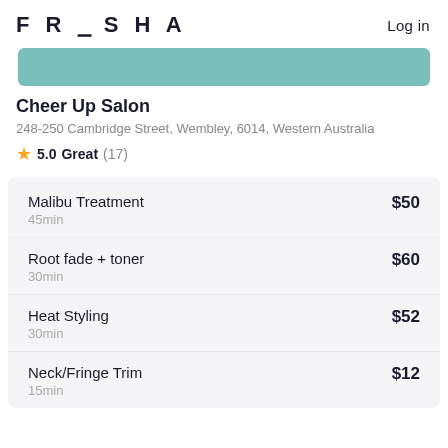FRESHA   Log in
[Figure (other): Teal/mint colored banner image strip]
Cheer Up Salon
248-250 Cambridge Street, Wembley, 6014, Western Australia
★ 5.0 Great (17)
| Service | Duration | Price |
| --- | --- | --- |
| Malibu Treatment | 45min | $50 |
| Root fade + toner | 30min | $60 |
| Heat Styling | 30min | $52 |
| Neck/Fringe Trim | 15min | $12 |